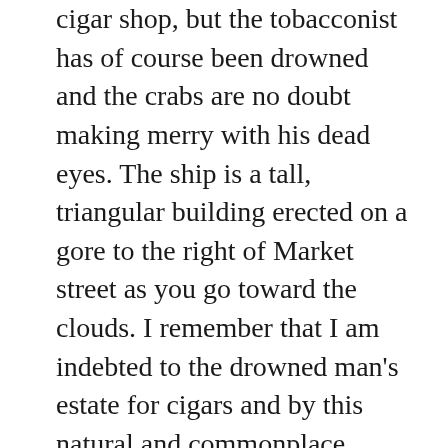cigar shop, but the tobacconist has of course been drowned and the crabs are no doubt making merry with his dead eyes. The ship is a tall, triangular building erected on a gore to the right of Market street as you go toward the clouds. I remember that I am indebted to the drowned man's estate for cigars and by this natural and commonplace circumstance the weird dream is dispelled. I put on my flesh, lay off my gills and inspire a lungful of good, wholesome San Francisco fog. Perhaps I see a few snakes wriggling sinuously away. Maybe they have vacated my boots.